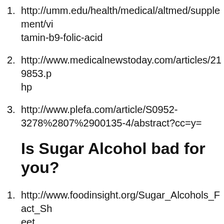1. http://umm.edu/health/medical/altmed/supplement/vitamin-b9-folic-acid
2. http://www.medicalnewstoday.com/articles/219853.php
3. http://www.plefa.com/article/S0952-3278%2807%2900135-4/abstract?cc=y=
Is Sugar Alcohol bad for you?
1. http://www.foodinsight.org/Sugar_Alcohols_Fact_Sheet
2. http://www.ynhh.org/about-us/sugar_alcohol.aspx
3. http://www.mayoclinic.org/healthy-lifestyle/nutrition-